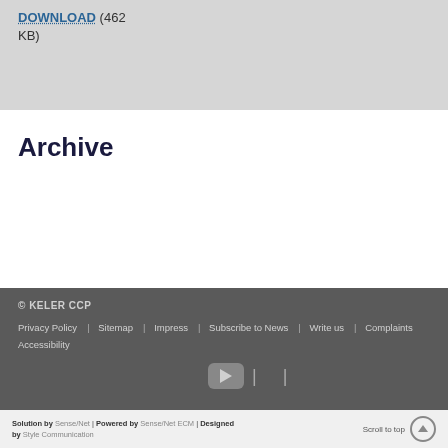DOWNLOAD (462 KB)
Archive
© KELER CCP   Privacy Policy   Sitemap   Impress   Subscribe to News   Write us   Complaints   Accessibility
Solution by Sense/Net | Powered by Sense/Net ECM | Designed by Style Communication   Scroll to top